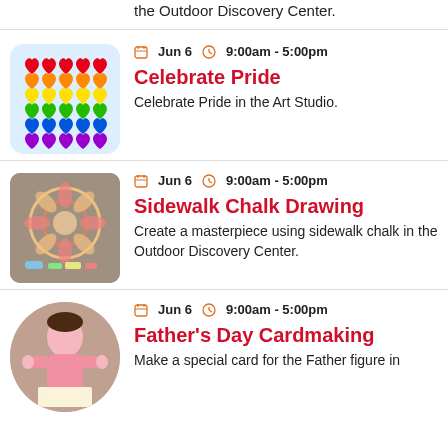the Outdoor Discovery Center.
[Figure (photo): Colorful origami rainbow hearts arranged in rows on a light blue background]
Jun 6   9:00am - 5:00pm
Celebrate Pride
Celebrate Pride in the Art Studio.
[Figure (photo): Sidewalk chalk mandala flower art on pavement with chalk pieces nearby]
Jun 6   9:00am - 5:00pm
Sidewalk Chalk Drawing
Create a masterpiece using sidewalk chalk in the Outdoor Discovery Center.
[Figure (photo): Child in pink shirt doing a craft activity, Father's Day cardmaking]
Jun 6   9:00am - 5:00pm
Father's Day Cardmaking
Make a special card for the Father figure in